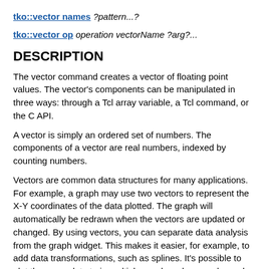tko::vector names ?pattern...?
tko::vector op operation vectorName ?arg?...
DESCRIPTION
The vector command creates a vector of floating point values. The vector's components can be manipulated in three ways: through a Tcl array variable, a Tcl command, or the C API.
A vector is simply an ordered set of numbers. The components of a vector are real numbers, indexed by counting numbers.
Vectors are common data structures for many applications. For example, a graph may use two vectors to represent the X-Y coordinates of the data plotted. The graph will automatically be redrawn when the vectors are updated or changed. By using vectors, you can separate data analysis from the graph widget. This makes it easier, for example, to add data transformations, such as splines. It's possible to plot the same data to in multiple graphs, where each graph presents a different view or scale of the data.
You could try to use Tcl's associative arrays as vectors. Tcl arrays are easy to use. You can access individual elements randomly by specifying the index, or the set the entire array by providing a list of index and value pairs for each element. The disadvantages of